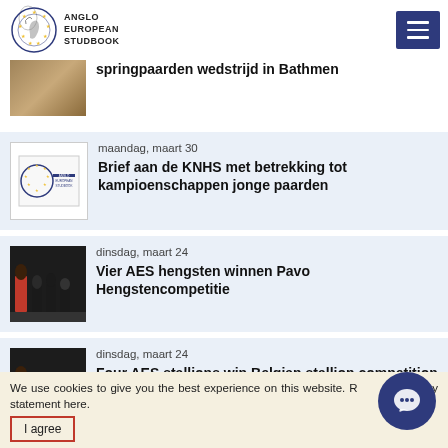Anglo European Studbook
springpaarden wedstrijd in Bathmen
maandag, maart 30
Brief aan de KNHS met betrekking tot kampioenschappen jonge paarden
dinsdag, maart 24
Vier AES hengsten winnen Pavo Hengstencompetitie
dinsdag, maart 24
Four AES stallions win Belgian stallion competition
zondag, maart 22
We use cookies to give you the best experience on this website. R... vacy statement here.
I agree